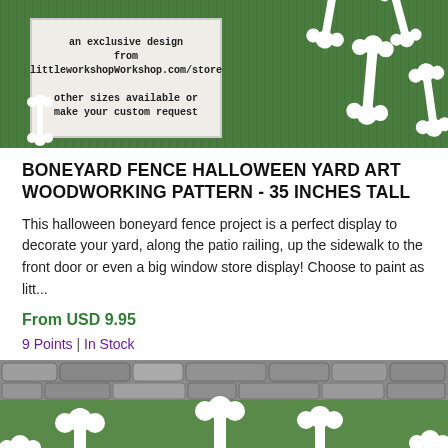[Figure (photo): Product photo showing halloween boneyard fence pieces (white bone shapes) arranged on green grass lawn with a sign showing woodworking pattern advertisement text]
BONEYARD FENCE HALLOWEEN YARD ART WOODWORKING PATTERN - 35 INCHES TALL
This halloween boneyard fence project is a perfect display to decorate your yard, along the patio railing, up the sidewalk to the front door or even a big window store display! Choose to paint as litt...
From USD 9.95
9 Points | In Stock
[Figure (photo): Second product photo showing white bone-shaped fence pieces standing in green grass with a stone wall in the background]